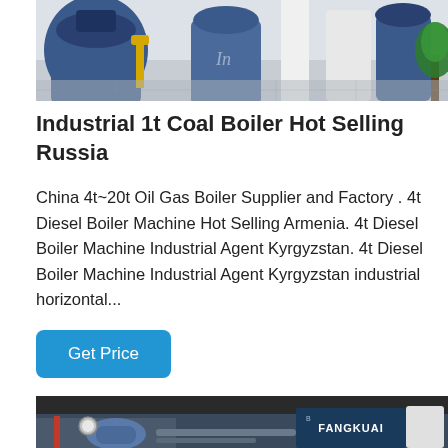[Figure (photo): Industrial boiler manufacturing facility interior showing large blue industrial boilers, yellow piping, white columns, and a green potted palm plant in the background on a marble floor.]
Industrial 1t Coal Boiler Hot Selling Russia
China 4t~20t Oil Gas Boiler Supplier and Factory . 4t Diesel Boiler Machine Hot Selling Armenia. 4t Diesel Boiler Machine Industrial Agent Kyrgyzstan. 4t Diesel Boiler Machine Industrial Agent Kyrgyzstan industrial horizontal...
Get Price
[Figure (photo): Industrial boiler equipment with pipes, gauges, and a blue panel with the FANGKUAI logo/brand name, yellow gas piping visible on the right side.]